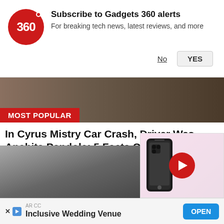[Figure (screenshot): Gadgets 360 notification subscription prompt with red circular logo, bold title 'Subscribe to Gadgets 360 alerts', subtitle text, and No/YES buttons]
[Figure (photo): Banner image with MOST POPULAR label in red, showing partial view of a person in dark patterned clothing]
In Cyrus Mistry Car Crash, Driver Was Anahita Pandole: 5 Facts On Her
Cyrus Mistry, scion of one of India's most illustrious business families - Shapoorji Pallonji Group - who formerly headed the Tata Sons, was killed in a car acci
News
[Figure (photo): Bottom image showing people, likely related to the news article]
[Figure (screenshot): Video popup showing a smartphone and a red play button on pink background]
[Figure (infographic): Advertisement bar: AR CC - Inclusive Wedding Venue with OPEN button]